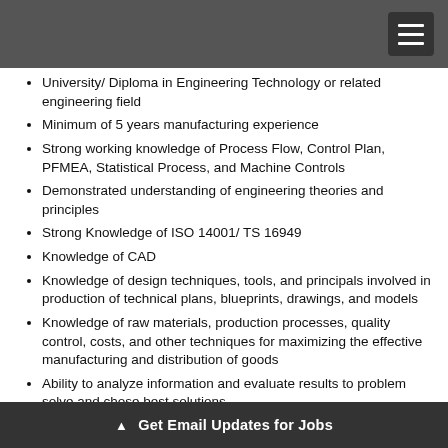University/ Diploma in Engineering Technology or related engineering field
Minimum of 5 years manufacturing experience
Strong working knowledge of Process Flow, Control Plan, PFMEA, Statistical Process, and Machine Controls
Demonstrated understanding of engineering theories and principles
Strong Knowledge of ISO 14001/ TS 16949
Knowledge of CAD
Knowledge of design techniques, tools, and principals involved in production of technical plans, blueprints, drawings, and models
Knowledge of raw materials, production processes, quality control, costs, and other techniques for maximizing the effective manufacturing and distribution of goods
Ability to analyze information and evaluate results to problem solve and chose best solutions
Ability to analyze data and create technical documents
▲ Get Email Updates for Jobs